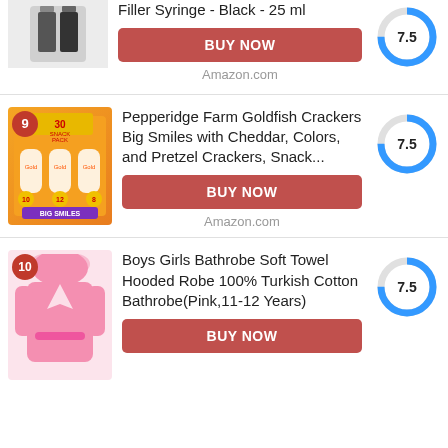[Figure (photo): Product image of Filler Syringe - Black - 25ml with rank badge partially visible]
Filler Syringe - Black - 25 ml
[Figure (donut-chart): Score]
BUY NOW
Amazon.com
[Figure (photo): Product image of Pepperidge Farm Goldfish Crackers Big Smiles 30 pack with rank badge 9]
Pepperidge Farm Goldfish Crackers Big Smiles with Cheddar, Colors, and Pretzel Crackers, Snack...
[Figure (donut-chart): Score]
BUY NOW
Amazon.com
[Figure (photo): Product image of pink Boys Girls Bathrobe with rank badge 10]
Boys Girls Bathrobe Soft Towel Hooded Robe 100% Turkish Cotton Bathrobe(Pink,11-12 Years)
[Figure (donut-chart): Score]
BUY NOW